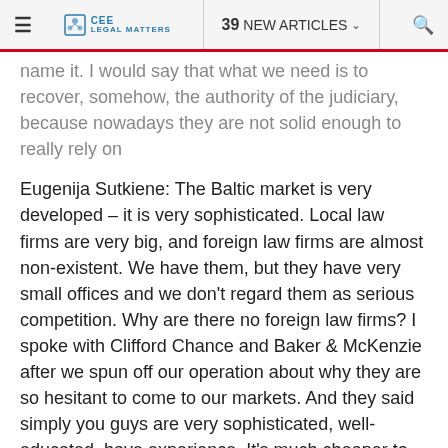≡  CEE LEGAL MATTERS  39 NEW ARTICLES ∨  🔍
name it. I would say that what we need is to recover, somehow, the authority of the judiciary, because nowadays they are not solid enough to really rely on
Eugenija Sutkiene: The Baltic market is very developed – it is very sophisticated. Local law firms are very big, and foreign law firms are almost non-existent. We have them, but they have very small offices and we don't regard them as serious competition. Why are there no foreign law firms? I spoke with Clifford Chance and Baker & McKenzie after we spun off our operation about why they are so hesitant to come to our markets. And they said simply you guys are very sophisticated, well-educated, have experience. It's much cheaper to have you as a partner rather than come and invest. Our leading law firms in